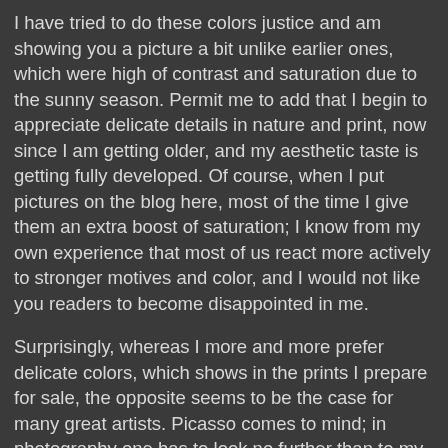I have tried to do these colors justice and am showing you a picture a bit unlike earlier ones, which were high of contrast and saturation due to the sunny season. Permit me to add that I begin to appreciate delicate details in nature and print, now since I am getting older, and my aesthetic taste is getting fully developed. Of course, when I put pictures on the blog here, most of the time I give them an extra boost of saturation; I know from my own experience that most of us react more actively to stronger motives and color, and I would not like you readers to become disappointed in me.
Surprisingly, whereas I more and more prefer delicate colors, which shows in the prints I prepare for sale, the opposite seems to be the case for many great artists. Picasso comes to mind; in photography one has to look no further than to my forbearer Ansel Adams. As a photographer, he produced picture after picture on demand from a few early negatives, so you can follow the development of his aesthetic taste over the decades. The prints from his later years shine in high contrast, whereas those of his youth are much more delicate in appearance.